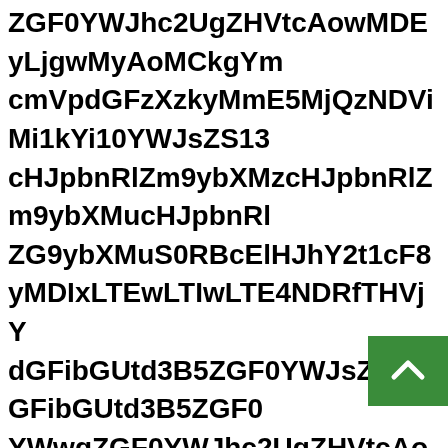ZGF0YWJhc2UgZHVtcAowMDEyLjgwMyAoMCkgYmccmVpdGFzXzkyMmE5MjQzNDViMi1kYi10YWJsZS13cHJpbnRlZm9ybXMzcHJpbnRlZm9ybXMucHJpbnRlZm9ybXMvcHJpbnRlZm9ybXMucHJpbnRlZm9ybXMv...
[Figure (other): Green scroll-to-top button with upward chevron arrow]